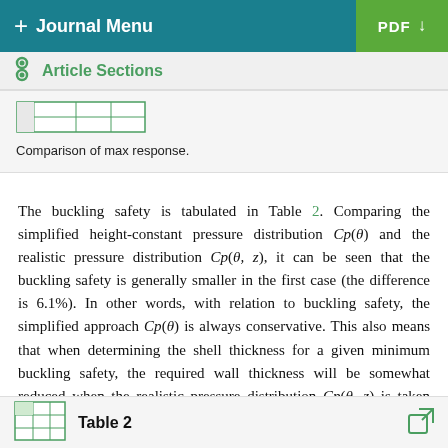+ Journal Menu | PDF ↓
Article Sections
[Figure (table-as-image): Partial table image showing comparison of max response]
Comparison of max response.
The buckling safety is tabulated in Table 2. Comparing the simplified height-constant pressure distribution Cp(θ) and the realistic pressure distribution Cp(θ, z), it can be seen that the buckling safety is generally smaller in the first case (the difference is 6.1%). In other words, with relation to buckling safety, the simplified approach Cp(θ) is always conservative. This also means that when determining the shell thickness for a given minimum buckling safety, the required wall thickness will be somewhat reduced when the realistic pressure distribution Cp(θ, z) is taken into account. In general, the effect of the pressure distribution on the buckling mode is slight.
Table 2